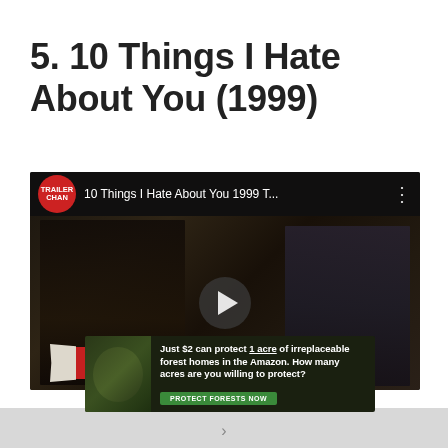5. 10 Things I Hate About You (1999)
[Figure (screenshot): YouTube video embed showing trailer for '10 Things I Hate About You 1999 T...' with TRAILER CHAN channel badge, two actors in the thumbnail, a play button, and a TRAILER label overlay. An Amazon forest protection ad banner overlays the bottom portion.]